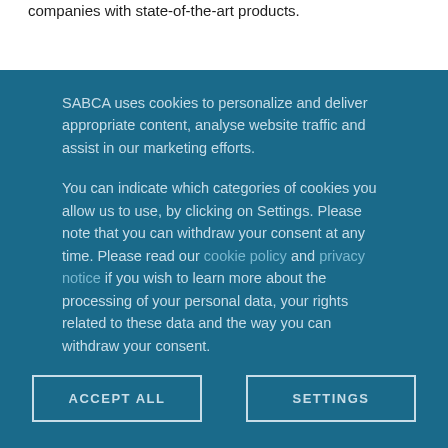companies with state-of-the-art products.
SABCA uses cookies to personalize and deliver appropriate content, analyse website traffic and assist in our marketing efforts.
You can indicate which categories of cookies you allow us to use, by clicking on Settings. Please note that you can withdraw your consent at any time. Please read our cookie policy and privacy notice if you wish to learn more about the processing of your personal data, your rights related to these data and the way you can withdraw your consent.
ACCEPT ALL
SETTINGS